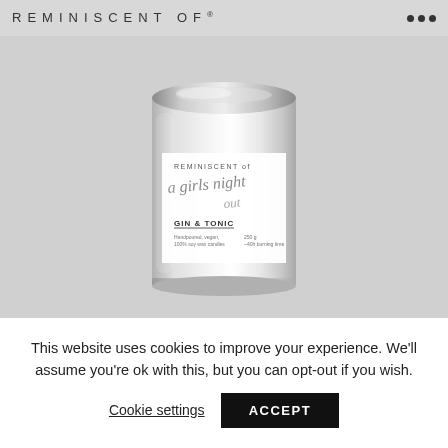REMINISCENT of®
[Figure (illustration): A silver tin candle with a white label reading 'REMINISCENT of a girls night out GIN & TONIC, Handpoured, vegan, 100% soy wax candles, 250g, ~40h burning time' on a grey background.]
This website uses cookies to improve your experience. We'll assume you're ok with this, but you can opt-out if you wish.
Cookie settings
ACCEPT